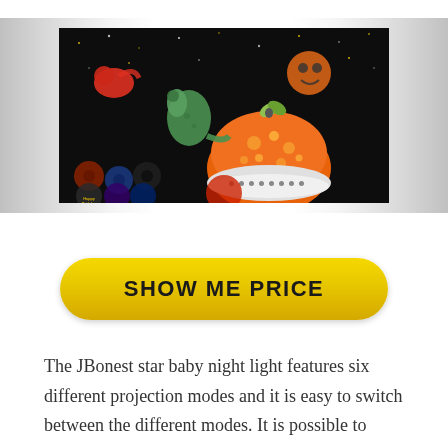[Figure (photo): Product photo of JBonest star baby night light projector, showing a dome-shaped orange device with decorative dinosaur and animal projections on a dark background, along with circular film discs below.]
SHOW ME PRICE
The JBonest star baby night light features six different projection modes and it is easy to switch between the different modes. It is possible to